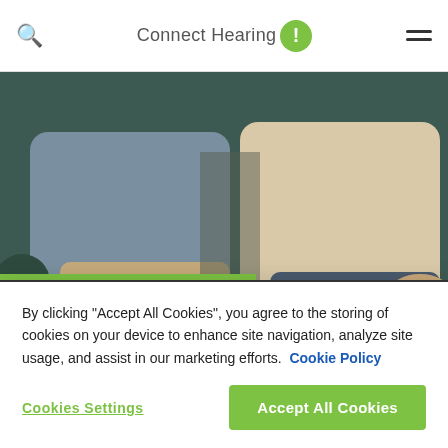Connect Hearing
[Figure (photo): Two people (elderly couple) sitting on a couch. A green banner overlay reads 'Hearing & Hearing Loss'.]
Hearing & Hearing Loss
22.03.2022
is selective hearing and how
By clicking "Accept All Cookies", you agree to the storing of cookies on your device to enhance site navigation, analyze site usage, and assist in our marketing efforts.  Cookie Policy
Cookies Settings    Accept All Cookies